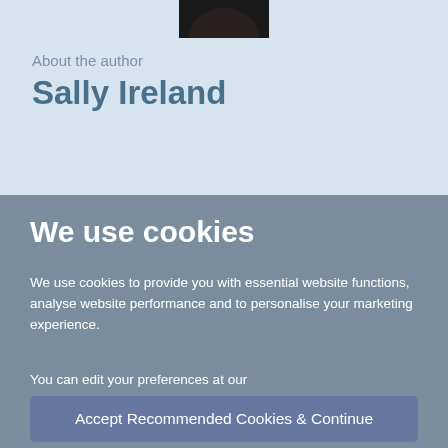[Figure (photo): Author photo of Sally Ireland, cropped at top, showing head and shoulders in dark clothing against light blue background]
About the author
Sally Ireland
We use cookies
We use cookies to provide you with essential website functions, analyse website performance and to personalise your marketing experience.
You can edit your preferences at our Privacy & Cookie Policy
Accept Recommended Cookies & Continue